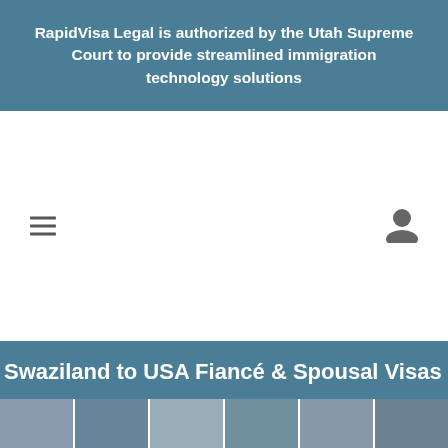RapidVisa Legal is authorized by the Utah Supreme Court to provide streamlined immigration technology solutions
[Figure (other): Navigation bar with hamburger menu icon on the left and user account icon on the right, white background]
Swaziland to USA Fiancé & Spousal Visas
[Figure (photo): Photo strip showing multiple images at the bottom of the page, partially visible]